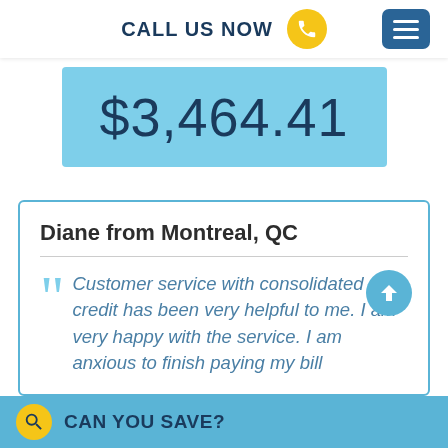CALL US NOW
$3,464.41
Diane from Montreal, QC
Customer service with consolidated credit has been very helpful to me. I am very happy with the service. I am anxious to finish paying my bill
CAN YOU SAVE?